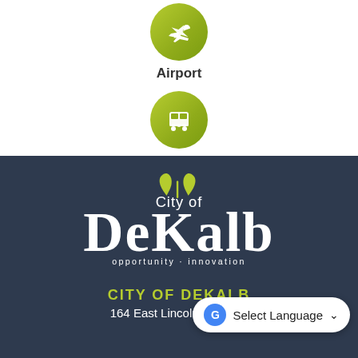[Figure (illustration): Green circle icon with airplane symbol representing Airport]
Airport
[Figure (illustration): Green circle icon with bus symbol representing Public Transit]
Public Transit
[Figure (logo): City of DeKalb logo with leaf design, text reads City of DeKalb, opportunity · innovation]
CITY OF DEKALB
164 East Lincoln Highway